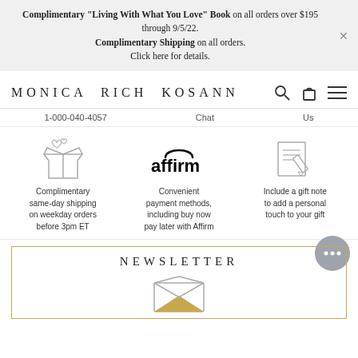Complimentary "Living With What You Love" Book on all orders over $195 through 9/5/22. Complimentary Shipping on all orders. Click here for details.
MONICA RICH KOSANN
1-000-040-4057   Chat   Us
[Figure (illustration): Box with hearts icon representing complimentary same-day shipping]
Complimentary same-day shipping on weekday orders before 3pm ET
[Figure (logo): Affirm logo]
Convenient payment methods, including buy now pay later with Affirm
[Figure (illustration): Gift note / document with pencil icon]
Include a gift note to add a personal touch to your gift
NEWSLETTER
[Figure (illustration): Envelope icon with gold/yellow interior]